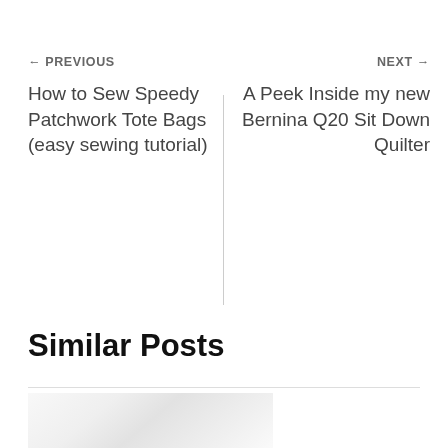← PREVIOUS
How to Sew Speedy Patchwork Tote Bags (easy sewing tutorial)
NEXT →
A Peek Inside my new Bernina Q20 Sit Down Quilter
Similar Posts
[Figure (photo): Partial image of a sewing or quilting related post thumbnail, bottom portion cropped]